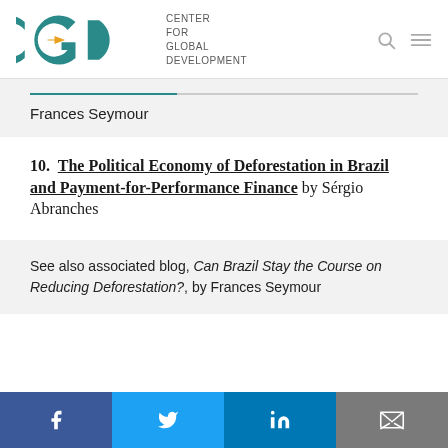[Figure (logo): CGD Center for Global Development logo with teal letters and orange arrow, search and menu icons on right]
Frances Seymour
10.  The Political Economy of Deforestation in Brazil and Payment-for-Performance Finance by Sérgio Abranches
See also associated blog, Can Brazil Stay the Course on Reducing Deforestation?, by Frances Seymour
[Figure (infographic): Social sharing bar with Facebook, Twitter, LinkedIn, and email icons]